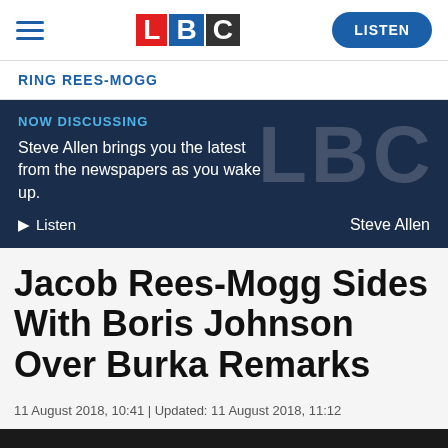LBC | LISTEN
RING REES-MOGG
NOW DISCUSSING
Steve Allen brings you the latest from the newspapers as you wake up.
▶ Listen   Steve Allen
Jacob Rees-Mogg Sides With Boris Johnson Over Burka Remarks
11 August 2018, 10:41 | Updated: 11 August 2018, 11:12